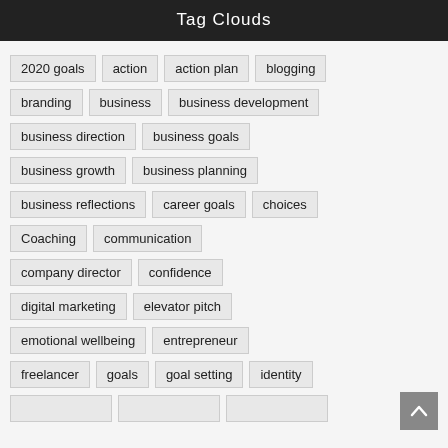Tag Clouds
2020 goals
action
action plan
blogging
branding
business
business development
business direction
business goals
business growth
business planning
business reflections
career goals
choices
Coaching
communication
company director
confidence
digital marketing
elevator pitch
emotional wellbeing
entrepreneur
freelancer
goals
goal setting
identity